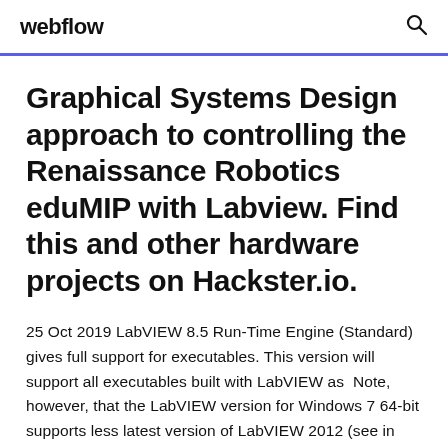webflow
Graphical Systems Design approach to controlling the Renaissance Robotics eduMIP with Labview. Find this and other hardware projects on Hackster.io.
25 Oct 2019 LabVIEW 8.5 Run-Time Engine (Standard) gives full support for executables. This version will support all executables built with LabVIEW as Note, however, that the LabVIEW version for Windows 7 64-bit supports less latest version of LabVIEW 2012 (see in